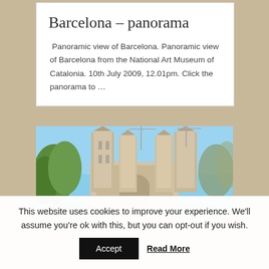Barcelona – panorama
Panoramic view of Barcelona. Panoramic view of Barcelona from the National Art Museum of Catalonia. 10th July 2009, 12.01pm. Click the panorama to …
[Figure (photo): Photo of the Sagrada Família basilica in Barcelona under construction with cranes, surrounded by trees, blue sky background.]
This website uses cookies to improve your experience. We'll assume you're ok with this, but you can opt-out if you wish.
Accept   Read More